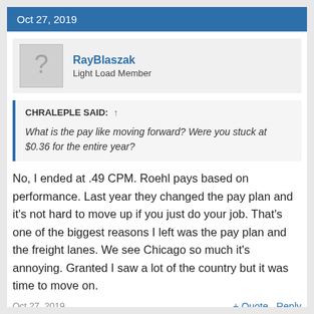Oct 27, 2019
RayBlaszak
Light Load Member
CHRALEPLE SAID: ↑
What is the pay like moving forward? Were you stuck at $0.36 for the entire year?
No, I ended at .49 CPM. Roehl pays based on performance. Last year they changed the pay plan and it's not hard to move up if you just do your job. That's one of the biggest reasons I left was the pay plan and the freight lanes. We see Chicago so much it's annoying. Granted I saw a lot of the country but it was time to move on.
Oct 27, 2019   + Quote   Reply